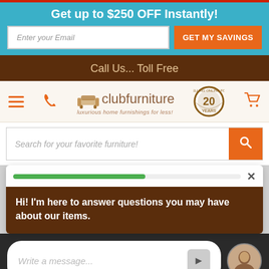Get up to $250 OFF Instantly!
Enter your Email
GET MY SAVINGS
Call Us... Toll Free
[Figure (logo): Club Furniture logo with chair icon, brand name, tagline 'luxurious home furnishings for less!' and '20 Years Selling Online' badge]
Search for your favorite furniture!
Hi! I'm here to answer questions you may have about our items.
Write a message...
© 2022 Club Furniture Charlotte, NC. All rights reserved.